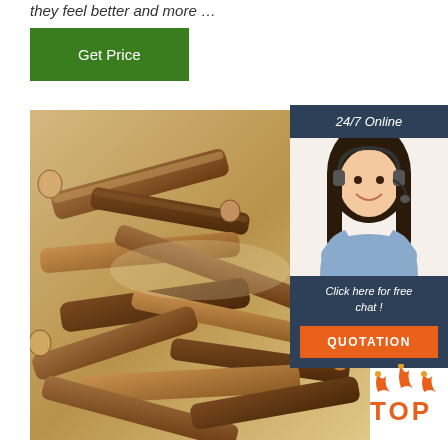they feel better and more …
Get Price
[Figure (photo): Dried herbal roots/licorice root chunks piled together, brown and tan colored, on a white background]
[Figure (infographic): 24/7 Online chat widget with a woman wearing a headset, 'Click here for free chat!' text, and QUOTATION button in orange]
[Figure (logo): TOP badge with orange flame/arrow icons above the word TOP in orange]